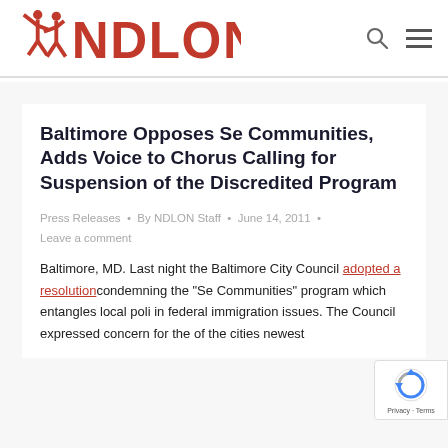NDLON
Baltimore Opposes Se Communities, Adds Voice to Chorus Calling for Suspension of the Discredited Program
Press Releases • By NDLON Staff • June 14, 2011 • Leave a comment
Baltimore, MD. Last night the Baltimore City Council adopted a resolution condemning the "Se Communities" program which entangles local poli in federal immigration issues. The Council expressed concern for the of the cities newest